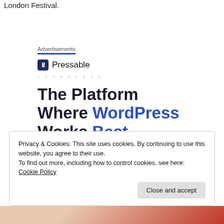London Festival.
Advertisements
[Figure (logo): Pressable logo with icon and name, followed by dots]
The Platform Where WordPress Works Best
Privacy & Cookies: This site uses cookies. By continuing to use this website, you agree to their use.
To find out more, including how to control cookies, see here: Cookie Policy
Close and accept